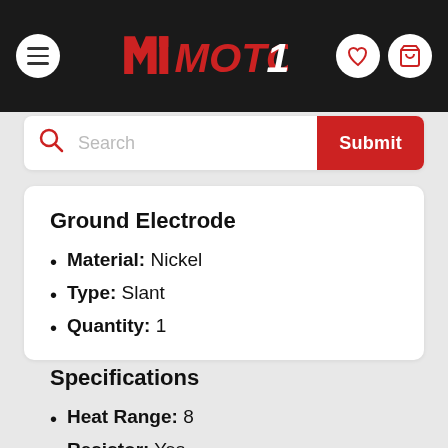[Figure (screenshot): MOTO1 website header with hamburger menu, logo, heart icon, and shopping cart icon on black background]
[Figure (screenshot): Search bar with magnifying glass icon, placeholder text 'Search', and red Submit button]
Ground Electrode
Material: Nickel
Type: Slant
Quantity: 1
Specifications
Heat Range: 8
Resistor: Yes